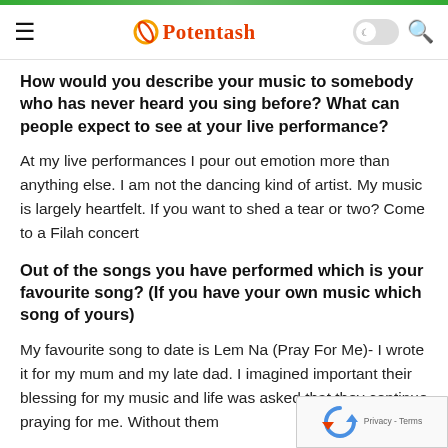Potentash
How would you describe your music to somebody who has never heard you sing before? What can people expect to see at your live performance?
At my live performances I pour out emotion more than anything else. I am not the dancing kind of artist. My music is largely heartfelt. If you want to shed a tear or two? Come to a Filah concert
Out of the songs you have performed which is your favourite song? (If you have your own music which song of yours)
My favourite song to date is Lem Na (Pray For Me)- I wrote it for my mum and my late dad. I imagined important their blessing for my music and life was asked that they continue praying for me. Without them